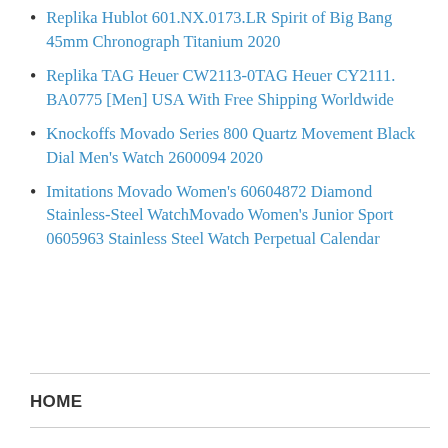Replika Hublot 601.NX.0173.LR Spirit of Big Bang 45mm Chronograph Titanium 2020
Replika TAG Heuer CW2113-0TAG Heuer CY2111. BA0775 [Men] USA With Free Shipping Worldwide
Knockoffs Movado Series 800 Quartz Movement Black Dial Men’s Watch 2600094 2020
Imitations Movado Women’s 60604872 Diamond Stainless-Steel WatchMovado Women’s Junior Sport 0605963 Stainless Steel Watch Perpetual Calendar
HOME